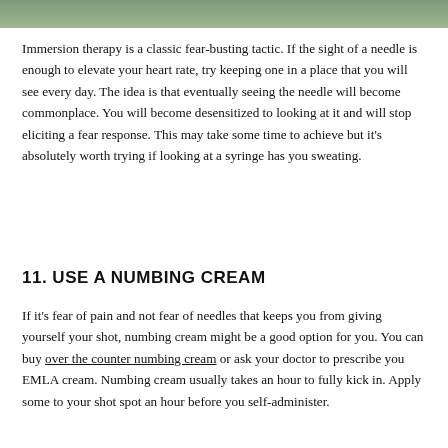[Figure (photo): Partial image at the top of the page showing a cropped photo with green/nature tones]
Immersion therapy is a classic fear-busting tactic. If the sight of a needle is enough to elevate your heart rate, try keeping one in a place that you will see every day. The idea is that eventually seeing the needle will become commonplace. You will become desensitized to looking at it and will stop eliciting a fear response. This may take some time to achieve but it's absolutely worth trying if looking at a syringe has you sweating.
11. USE A NUMBING CREAM
If it's fear of pain and not fear of needles that keeps you from giving yourself your shot, numbing cream might be a good option for you. You can buy over the counter numbing cream or ask your doctor to prescribe you EMLA cream. Numbing cream usually takes an hour to fully kick in. Apply some to your shot spot an hour before you self-administer.